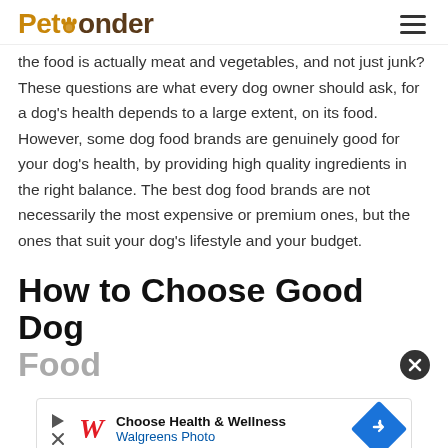PetPonder
the food is actually meat and vegetables, and not just junk? These questions are what every dog owner should ask, for a dog’s health depends to a large extent, on its food. However, some dog food brands are genuinely good for your dog’s health, by providing high quality ingredients in the right balance. The best dog food brands are not necessarily the most expensive or premium ones, but the ones that suit your dog’s lifestyle and your budget.
How to Choose Good Dog Food
[Figure (other): Walgreens Photo advertisement banner: Choose Health & Wellness - Walgreens Photo, with play button, close button, Walgreens logo, and blue diamond arrow icon]